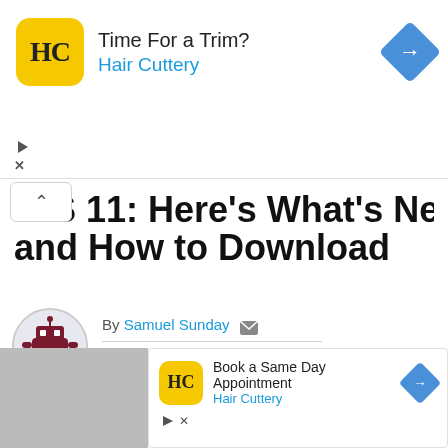[Figure (other): Hair Cuttery advertisement banner with logo, 'Time For a Trim?' headline, 'Hair Cuttery' subtext, and blue diamond navigation arrow icon]
iOS 11: Here's What's New and How to Download
By Samuel Sunday   Posted on 21/09/2017
Apple on Tuesday rolled out iOS 11, watchOS 4, and tvOS 11 worldwide for its products. While we've already covered everything new about the iOS 11 and how iPhone, iPad, and iPod touch users can download it, we now take a look at what's new with the newest OS versions for the Apple Watch
[Figure (other): Hair Cuttery advertisement with logo, 'Book a Same Day Appointment' text, 'Hair Cuttery' subtext, and blue diamond navigation arrow]